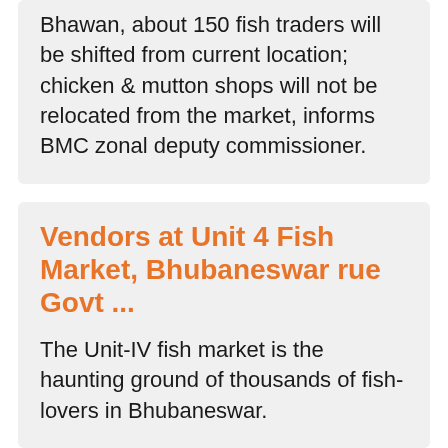Bhawan, about 150 fish traders will be shifted from current location; chicken & mutton shops will not be relocated from the market, informs BMC zonal deputy commissioner.
Vendors at Unit 4 Fish Market, Bhubaneswar rue Govt ...
The Unit-IV fish market is the haunting ground of thousands of fish-lovers in Bhubaneswar.
Bhubaneswar Unit-IV Fish